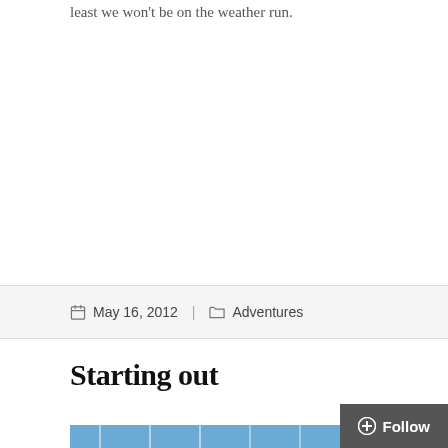least we won't be on the weather run.
May 16, 2012   Adventures
Starting out
[Figure (photo): Partial photo of sailboat masts and rigging against a blue sky, cropped at bottom of page]
[Figure (other): Follow button overlay, dark grey with plus icon and 'Follow' text]